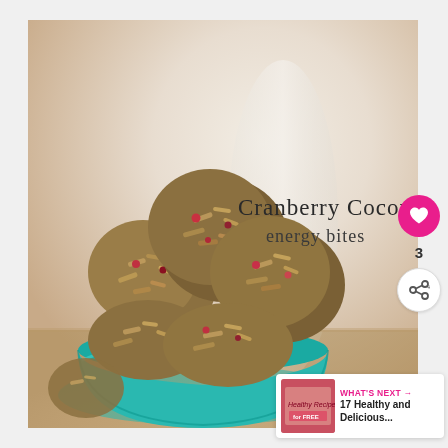[Figure (photo): Photo of cranberry coconut energy bites — round oat-and-cranberry balls piled in a teal bowl on a light wooden surface, with a handwritten-style title overlay reading 'Cranberry Coconut energy bites']
Cranberry Coconut energy bites
[Figure (infographic): Social interaction sidebar: heart/like button (pink circle with heart icon), count '3', and a share button (circle with share icon)]
3
WHAT'S NEXT → 17 Healthy and Delicious...